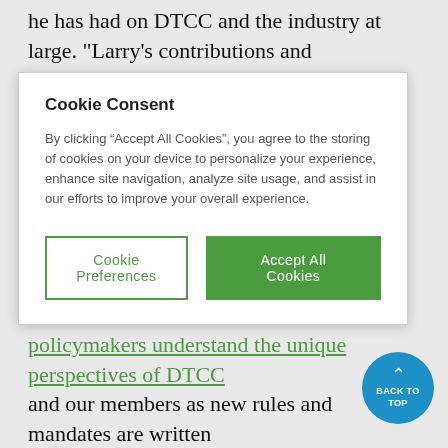he has had on DTCC and the industry at large. "Larry's contributions and accomplishments have consistently
Cookie Consent

By clicking “Accept All Cookies”, you agree to the storing of cookies on your device to personalize your experience, enhance site navigation, analyze site usage, and assist in our efforts to improve your overall experience.

[Cookie Preferences] [Accept All Cookies]
policymakers understand the unique perspectives of DTCC and our members as new rules and mandates are written and implemented,” Bodson said.
In his role as Vice Chairman of DTCC, Thompson serves as a chief spokesperson for DTCC at events and conferences and with the media. He recently delivered a keynote address at the U.S. Treasury Department’s Office of Financial Research…